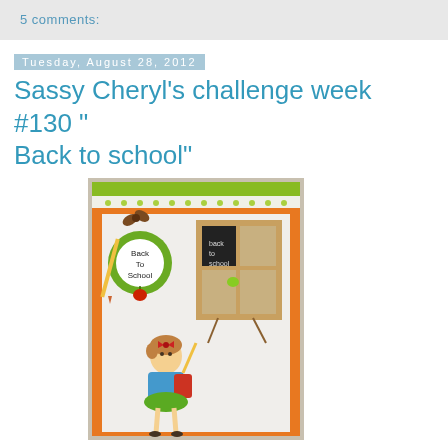5 comments:
Tuesday, August 28, 2012
Sassy Cheryl's challenge week #130 "Back to school"
[Figure (photo): A handmade craft card with a back-to-school theme. Features a green circular tag with 'Back To School' text, a pencil, a small girl illustration wearing a blue top and green skirt with a red backpack, and a chalkboard window with 'back to school' written on it. Orange border framing with green zigzag trim at the top.]